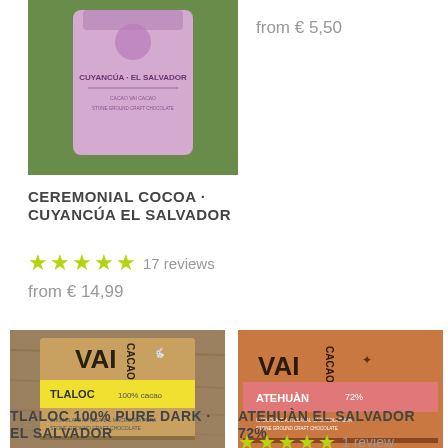[Figure (photo): Pink bag of Ceremonial Cocoa Cuyancúa El Salvador on green leafy background]
from € 5,50
CEREMONIAL COCOA · CUYANCÚA EL SALVADOR
★★★★★ 17 reviews
from € 14,99
[Figure (photo): VAI Cacao Tlaloc 100% cacao chocolate bar with yellow label on wood surface]
[Figure (photo): VAI Cacao Atehuàn 72% chocolate bar with pink label in kraft box]
TLALOC 100% PURE DARK · EL SALVADOR
ATEHUÀN EL SALVADOR 72%
★★★★★ 1 review